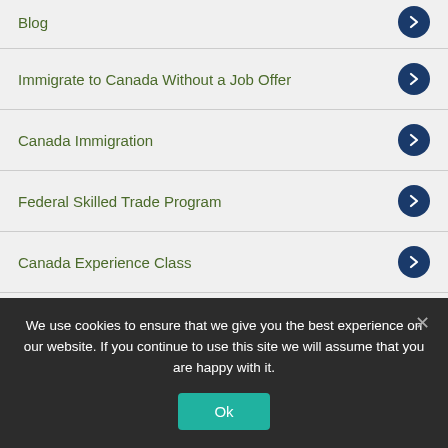Blog
Immigrate to Canada Without a Job Offer
Canada Immigration
Federal Skilled Trade Program
Canada Experience Class
Provincial Nominee Visa
Canada Work Permit
AINP
CIC Processing Time
We use cookies to ensure that we give you the best experience on our website. If you continue to use this site we will assume that you are happy with it.